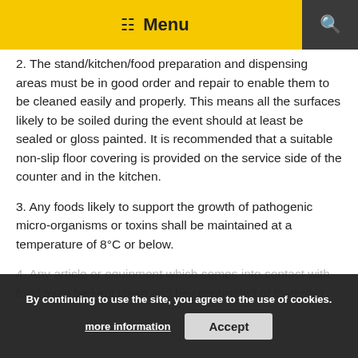Menu
2. The stand/kitchen/food preparation and dispensing areas must be in good order and repair to enable them to be cleaned easily and properly. This means all the surfaces likely to be soiled during the event should at least be sealed or gloss painted. It is recommended that a suitable non-slip floor covering is provided on the service side of the counter and in the kitchen.
3. Any foods likely to support the growth of pathogenic micro-organisms or toxins shall be maintained at a temperature of 8°C or below.
4. Any article or equipment which comes into contact with food must be kept clean and be constructed of materials that are not absorbent and can easily and
By continuing to use the site, you agree to the use of cookies.
more information
Accept